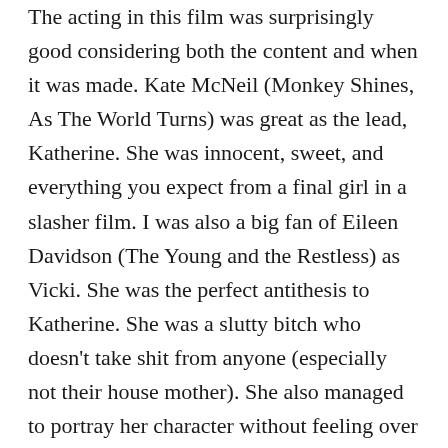The acting in this film was surprisingly good considering both the content and when it was made. Kate McNeil (Monkey Shines, As The World Turns) was great as the lead, Katherine. She was innocent, sweet, and everything you expect from a final girl in a slasher film. I was also a big fan of Eileen Davidson (The Young and the Restless) as Vicki. She was the perfect antithesis to Katherine. She was a slutty bitch who doesn't take shit from anyone (especially not their house mother). She also managed to portray her character without feeling over the top in her performance.